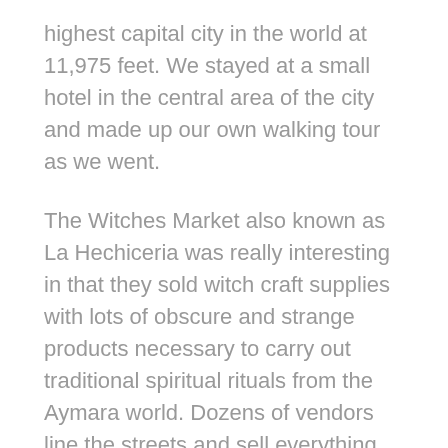highest capital city in the world at 11,975 feet. We stayed at a small hotel in the central area of the city and made up our own walking tour as we went.
The Witches Market also known as La Hechiceria was really interesting in that they sold witch craft supplies with lots of obscure and strange products necessary to carry out traditional spiritual rituals from the Aymara world. Dozens of vendors line the streets and sell everything from dried frogs, snakes, owl feathers, llama fetus as well as the usual things like post cards and key rings.  Good times.
While I was in La Paz  I read a book called “Marching Powder”, by Rusty Young;  A true story of friendship, Cocaine and South America’s strangest jail. If you are planning a trip to La Paz this book is a cautionary tale